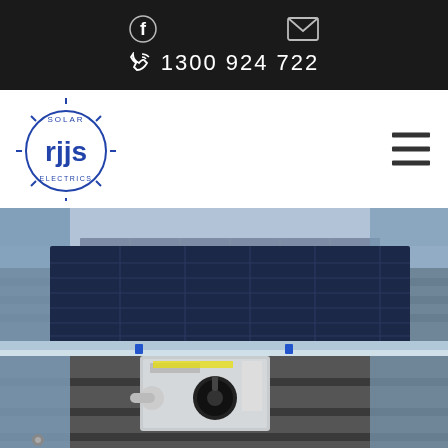1300 924 722
[Figure (logo): RJJ Solar Electrics circular logo in blue]
[Figure (photo): Close-up photograph of a solar panel installation on a rooftop with a DC isolator switch box mounted below the panels on metal racking]